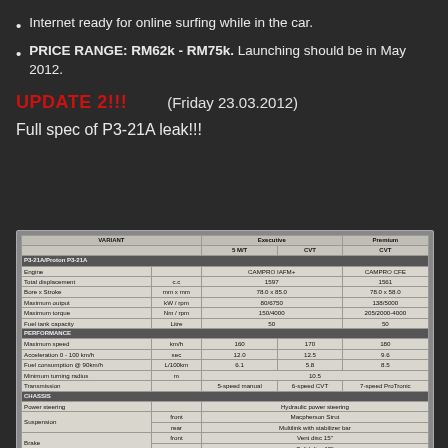Internet ready for online surfing while in the car.
PRICE RANGE: RM62k - RM75k.  Launching should be in May 2012.
UPDATE 2!!!     (Friday 23.03.2012)
Full spec of P3-21A leak!!!
| VARIANT |  | Executive 5 M/T | Executive CVT | Premium CVT |
| --- | --- | --- | --- | --- |
| Engine |  | CAMPRO IAFM+ |  | CAMPRO CFE |
| Total displacement | c.c | 1597 |  | 1561 |
| Bore x Stroke | mm x mm | 78.0 x 85.0 |  | 78.0 x 58.0 |
| Maximum output | kW / rpm | 80/6750 |  | 138/5000 |
| Maximum torque | Nm / rpm | 150/4000 |  | 205/2000-4000 |
| Fuel tank capacity | Litre | 50 |  | 50 |
| Maximum speed | km/h | 160 | 170 | 180 |
| Acceleration 0 - 100 km/h | sec | 12.0 | 12.5 | 9.6 |
| Fuel consumption @ 90km/h | L/100km | 6.1 | 5.8 | 8.5 |
| Minimum turning radius | m |  | 10.5 |  |
| Transmission |  | 5-speed manual | 6-speed CVT | 7-speed ProTronic |
| Power steering |  | Hydraulic power steering |  |  |
| Suspension | front | Macpherson Strut |  |  |
|  | rear | Multilink with stabilizer bar |  |  |
| Brake | front | Vent disc 15" |  |  |
|  | rear | Solid disc 15" |  |  |
| Tyre & wheel size |  | 205/55 R16 - Alloy |  |  |
| Overall L x W x H | mm | 4043 x 1780 x 1524 |  |  |